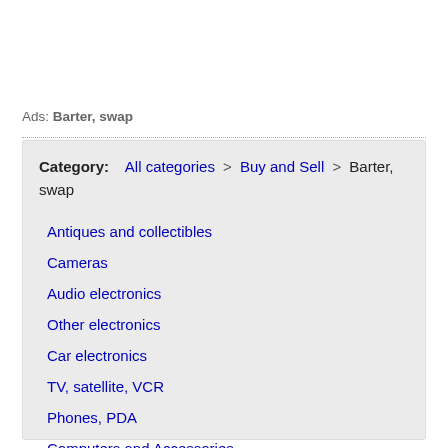Ads: Barter, swap
Category: All categories > Buy and Sell > Barter, swap
Antiques and collectibles
Cameras
Audio electronics
Other electronics
Car electronics
TV, satellite, VCR
Phones, PDA
Computers and Accessories